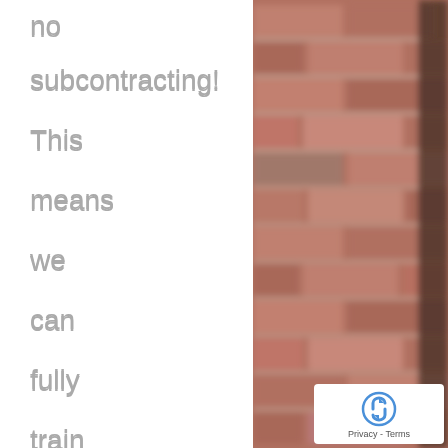no subcontracting! This means we can fully train up our engineers and sales teams to be the best
[Figure (photo): Blurred close-up photograph of a red brick wall, occupying the right half of the page]